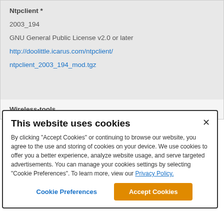| Ntpclient * |
| 2003_194 |
| GNU General Public License v2.0 or later |
| http://doolittle.icarus.com/ntpclient/ |
| ntpclient_2003_194_mod.tgz |
| Wireless-tools |
This website uses cookies
By clicking "Accept Cookies" or continuing to browse our website, you agree to the use and storing of cookies on your device. We use cookies to offer you a better experience, analyze website usage, and serve targeted advertisements. You can manage your cookies settings by selecting "Cookie Preferences". To learn more, view our Privacy Policy.